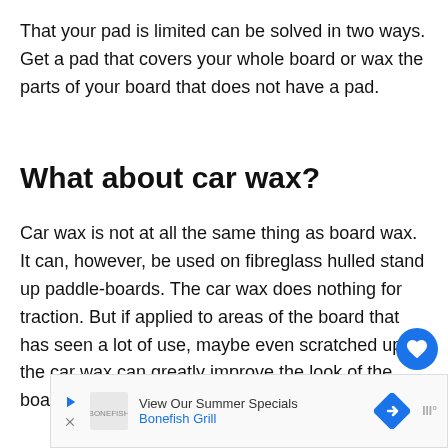That your pad is limited can be solved in two ways. Get a pad that covers your whole board or wax the parts of your board that does not have a pad.
What about car wax?
Car wax is not at all the same thing as board wax. It can, however, be used on fibreglass hulled stand up paddle-boards. The car wax does nothing for traction. But if applied to areas of the board that has seen a lot of use, maybe even scratched up, the car wax can greatly improve the look of the board.
[Figure (other): Heart (favorite) button overlay - blue circle with heart icon]
[Figure (other): Share button overlay - white circle with share icon]
[Figure (other): What's Next panel showing thumbnail image and text '3 Tips on How to Paddle...']
[Figure (other): Advertisement banner: View Our Summer Specials - Bonefish Grill, with play and navigation icons]